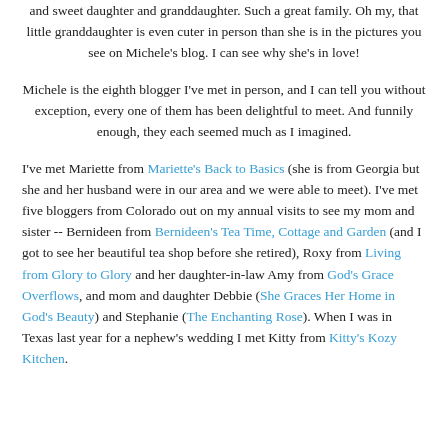and sweet daughter and granddaughter. Such a great family. Oh my, that little granddaughter is even cuter in person than she is in the pictures you see on Michele's blog. I can see why she's in love!
Michele is the eighth blogger I've met in person, and I can tell you without exception, every one of them has been delightful to meet. And funnily enough, they each seemed much as I imagined.
I've met Mariette from Mariette's Back to Basics (she is from Georgia but she and her husband were in our area and we were able to meet). I've met five bloggers from Colorado out on my annual visits to see my mom and sister -- Bernideen from Bernideen's Tea Time, Cottage and Garden (and I got to see her beautiful tea shop before she retired), Roxy from Living from Glory to Glory and her daughter-in-law Amy from God's Grace Overflows, and mom and daughter Debbie (She Graces Her Home in God's Beauty) and Stephanie (The Enchanting Rose). When I was in Texas last year for a nephew's wedding I met Kitty from Kitty's Kozy Kitchen.